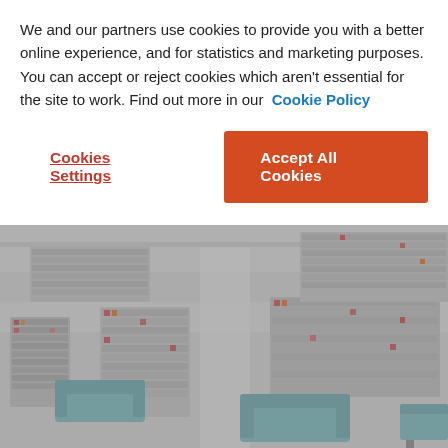We and our partners use cookies to provide you with a better online experience, and for statistics and marketing purposes. You can accept or reject cookies which aren't essential for the site to work. Find out more in our Cookie Policy
Cookies Settings
Accept All Cookies
[Figure (illustration): An aerial/isometric view of a library interior with bookshelves, seating areas with teal sofas, and a person visible in the lower right. The image is overlaid with a semi-transparent grey tint.]